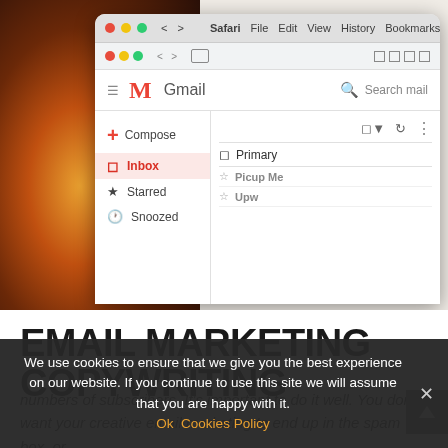[Figure (screenshot): Screenshot of a Mac desktop showing Gmail inbox in Safari browser. Browser menu bar shows Safari, File, Edit, View, History, Bookmarks, Devel. Gmail interface shows M logo, Gmail wordmark, Search mail, Compose button, Inbox (active/highlighted), Starred, and Snoozed sidebar items. Content area shows Primary label, Picup Me and Upw email rows. Left side of image shows warm glowing light (bulb/fire) on dark background.]
EMAIL MARKETING COPYWRITING
numbers of subscribers. It's important to do it well. You don't want your creative email marketing to end up in the spam box, or
We use cookies to ensure that we give you the best experience on our website. If you continue to use this site we will assume that you are happy with it. Ok Cookies Policy